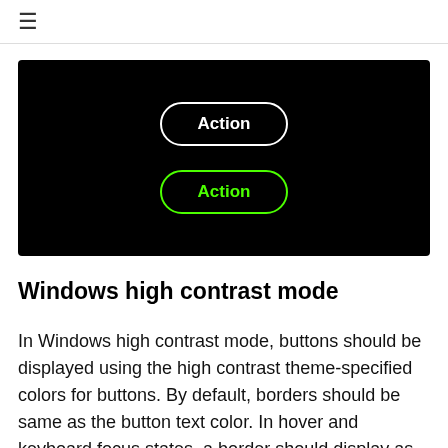≡
[Figure (screenshot): Black background panel showing two pill-shaped buttons: one with white border and white text 'Action', and one with green border and green text 'Action', demonstrating dark/high contrast button styles.]
Windows high contrast mode
In Windows high contrast mode, buttons should be displayed using the high contrast theme-specified colors for buttons. By default, borders should be same as the button text color. In hover and keyboard focus states, a border should display as the button border